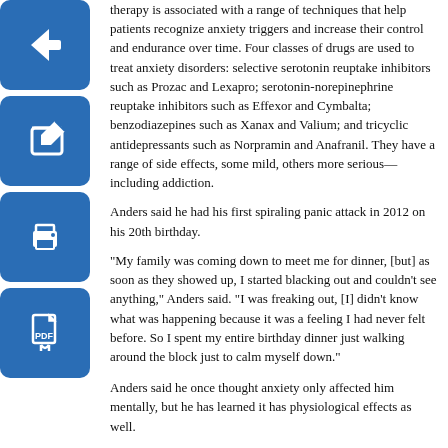therapy is associated with a range of techniques that help patients recognize anxiety triggers and increase their control and endurance over time. Four classes of drugs are used to treat anxiety disorders: selective serotonin reuptake inhibitors such as Prozac and Lexapro; serotonin-norepinephrine reuptake inhibitors such as Effexor and Cymbalta; benzodiazepines such as Xanax and Valium; and tricyclic antidepressants such as Norpramin and Anafranil. They have a range of side effects, some mild, others more serious—including addiction.
Anders said he had his first spiraling panic attack in 2012 on his 20th birthday.
"My family was coming down to meet me for dinner, [but] as soon as they showed up, I started blacking out and couldn't see anything," Anders said. "I was freaking out, [I] didn't know what was happening because it was a feeling I had never felt before. So I spent my entire birthday dinner just walking around the block just to calm myself down."
Anders said he once thought anxiety only affected him mentally, but he has learned it has physiological effects as well.
"I can't control my body," Anders said. "It gets very weak and very dizzy. My heart beats really fast [and] the main thing I have to do is control my breathing … sometimes I can get it under control pretty quickly. Other times I can't get it under control and I need to be alone immediately and I need to breathe, just calm myself."